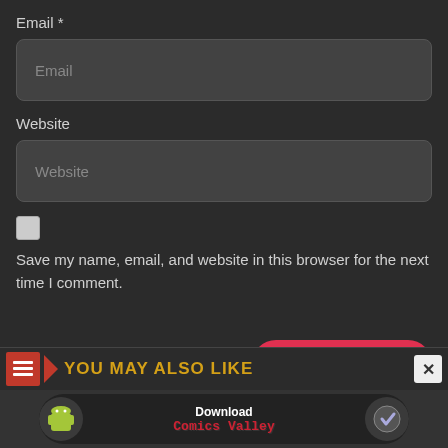Email *
[Figure (screenshot): Email input field, dark grey rounded rectangle with placeholder text 'Email']
Website
[Figure (screenshot): Website input field, dark grey rounded rectangle with placeholder text 'Website']
[Figure (screenshot): Checkbox (unchecked, light grey square)]
Save my name, email, and website in this browser for the next time I comment.
[Figure (screenshot): Post Comment button — red rounded pill button with white bold text]
YOU MAY ALSO LIKE
[Figure (screenshot): Advertisement banner: Download Comics Valley app with Android and logo icons]